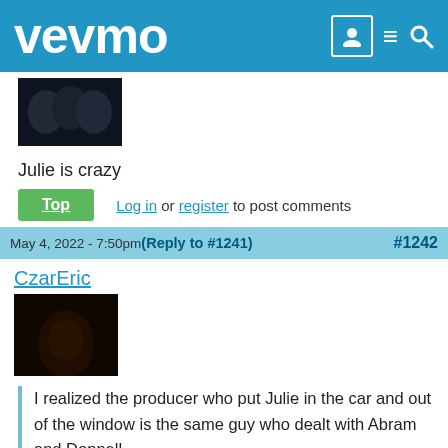vevmo
[Figure (photo): Dark group photo avatar thumbnail]
Julie is crazy
Top | Log in or register to post comments
May 4, 2022 - 7:50pm (Reply to #1241) #1242
CzarEric
[Figure (photo): Dark avatar photo thumbnail]
I realized the producer who put Julie in the car and out of the window is the same guy who dealt with Abram and Donnell